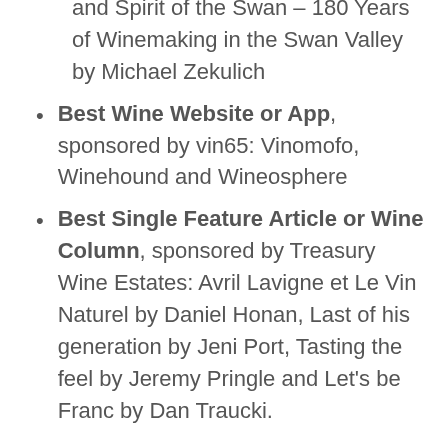and Spirit of the Swan – 180 Years of Winemaking in the Swan Valley by Michael Zekulich
Best Wine Website or App, sponsored by vin65: Vinomofo, Winehound and Wineosphere
Best Single Feature Article or Wine Column, sponsored by Treasury Wine Estates: Avril Lavigne et Le Vin Naturel by Daniel Honan, Last of his generation by Jeni Port, Tasting the feel by Jeremy Pringle and Let's be Franc by Dan Traucki.
WCA Chair Angie Bradbury said now in its second year the Wine Communicator Awards attracted some outstanding entries from a wide